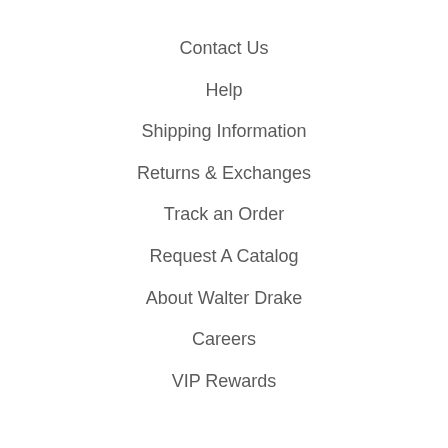Contact Us
Help
Shipping Information
Returns & Exchanges
Track an Order
Request A Catalog
About Walter Drake
Careers
VIP Rewards